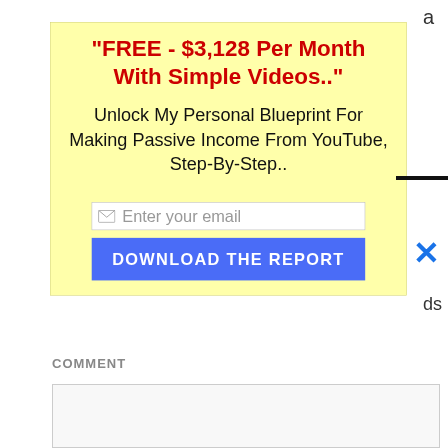"FREE - $3,128 Per Month With Simple Videos.."
Unlock My Personal Blueprint For Making Passive Income From YouTube, Step-By-Step..
Enter your email
DOWNLOAD THE REPORT
COMMENT